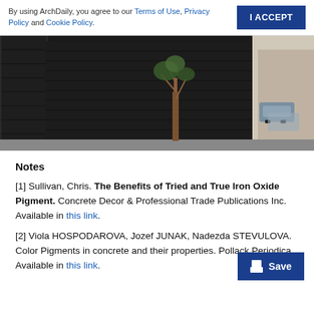By using ArchDaily, you agree to our Terms of Use, Privacy Policy and Cookie Policy.   I ACCEPT
[Figure (photo): Exterior view of a dark/black modern building facade with horizontal cladding, a tree in front, and a street scene with parked cars on the right side.]
Notes
[1] Sullivan, Chris. The Benefits of Tried and True Iron Oxide Pigment. Concrete Decor & Professional Trade Publications Inc. Available in this link.
[2] Viola HOSPODAROVA, Jozef JUNAK, Nadezda STEVULOVA. Color Pigments in concrete and their properties. Pollack Periodica. Available in this link.